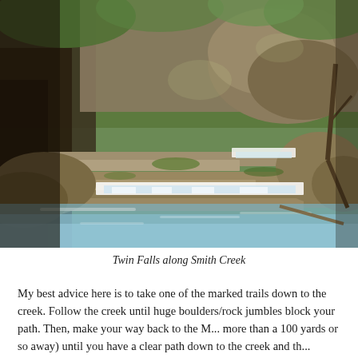[Figure (photo): A photograph of Twin Falls along Smith Creek, showing a shallow creek with multi-tiered rock ledge waterfalls, moss-covered boulders, large stone outcroppings, trees, and a clear pool of water in the foreground. Natural wooded canyon scenery.]
Twin Falls along Smith Creek
My best advice here is to take one of the marked trails down to the creek. Follow the creek until huge boulders/rock jumbles block your path. Then, make your way back to the M... more than a 100 yards or so away) until you have a clear path down to the creek and th...